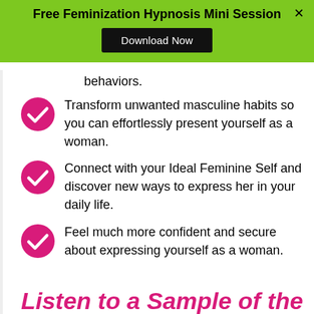Free Feminization Hypnosis Mini Session
Download Now
behaviors.
Transform unwanted masculine habits so you can effortlessly present yourself as a woman.
Connect with your Ideal Feminine Self and discover new ways to express her in your daily life.
Feel much more confident and secure about expressing yourself as a woman.
Listen to a Sample of the